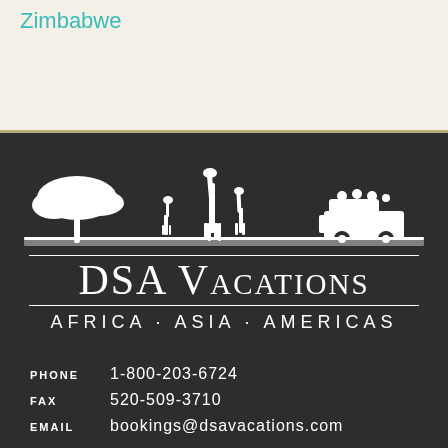Zimbabwe
[Figure (logo): DSA Vacations logo with white safari silhouette (acacia trees, giraffes, safari vehicle) on dark background, with text DSA Vacations, Africa · Asia · Americas]
PHONE  1-800-203-6724
FAX  520-509-3710
EMAIL  bookings@dsavacations.com